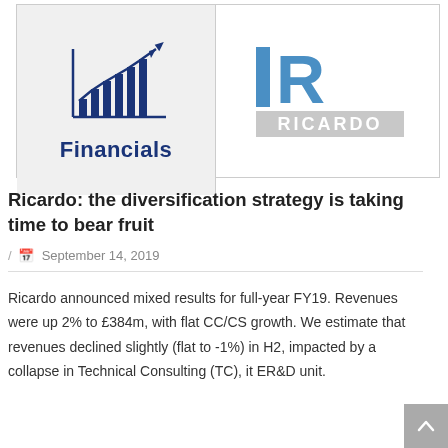[Figure (logo): Bar chart with upward trending arrow — Financials icon]
[Figure (logo): Ricardo company logo — blue R with RICARDO text]
Ricardo: the diversification strategy is taking time to bear fruit
/ September 14, 2019
Ricardo announced mixed results for full-year FY19. Revenues were up 2% to £384m, with flat CC/CS growth. We estimate that revenues declined slightly (flat to -1%) in H2, impacted by a collapse in Technical Consulting (TC), it ER&D unit.